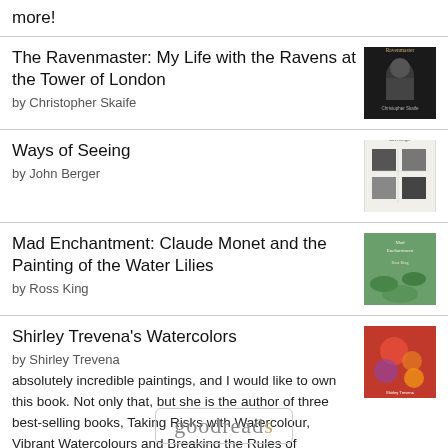more!
The Ravenmaster: My Life with the Ravens at the Tower of London
by Christopher Skaife
Ways of Seeing
by John Berger
Mad Enchantment: Claude Monet and the Painting of the Water Lilies
by Ross King
Shirley Trevena's Watercolors
by Shirley Trevena
absolutely incredible paintings, and I would like to own this book. Not only that, but she is the author of three best-selling books, Taking Risks with Watercolour, Vibrant Watercolours and Breaking the Rules of Watercolour, and three DV...
[Figure (logo): Goodreads logo]